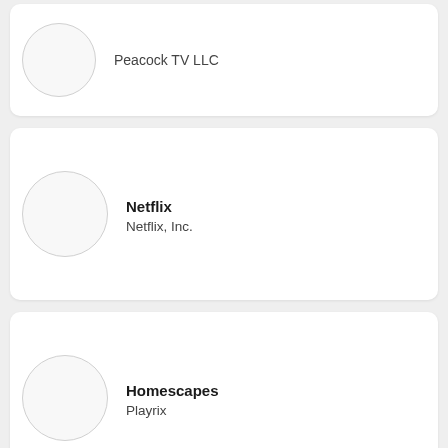Peacock TV LLC
Netflix
Netflix, Inc.
Homescapes
Playrix
Duolingo - Language Lessons
Duolingo